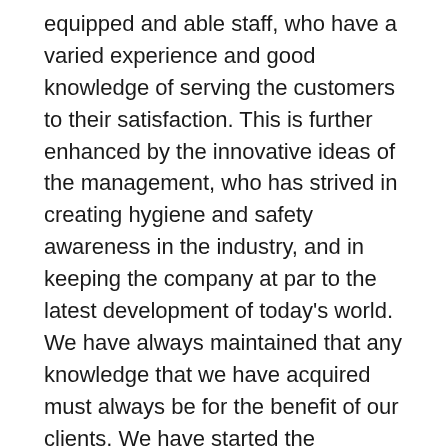equipped and able staff, who have a varied experience and good knowledge of serving the customers to their satisfaction. This is further enhanced by the innovative ideas of the management, who has strived in creating hygiene and safety awareness in the industry, and in keeping the company at par to the latest development of today's world. We have always maintained that any knowledge that we have acquired must always be for the benefit of our clients. We have started the company on a pledge: We may not be the most perfect company in the UAE, but we will always put the customers and their requirements first. The company has grown, and will continue to grow, but our pledge to our clients will always be there. It is the driving force that keeps us all together, innovating, and blazing the trail for the industry. Ultimately, our customers will experience this pledge and will provide the energy that propels the company to reach new heights, provide more cleaning services, and maintain its high standards. We believe in providing the